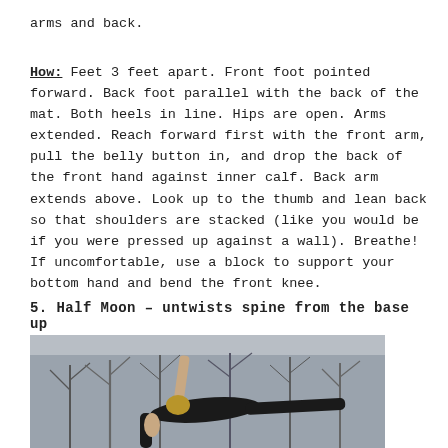arms and back.
How: Feet 3 feet apart. Front foot pointed forward. Back foot parallel with the back of the mat. Both heels in line. Hips are open. Arms extended. Reach forward first with the front arm, pull the belly button in, and drop the back of the front hand against inner calf. Back arm extends above. Look up to the thumb and lean back so that shoulders are stacked (like you would be if you were pressed up against a wall). Breathe! If uncomfortable, use a block to support your bottom hand and bend the front knee.
5. Half Moon – untwists spine from the base up
[Figure (photo): Person performing Half Moon yoga pose outdoors with bare trees in background, wearing black clothing, one arm raised upward and one leg extended horizontally]